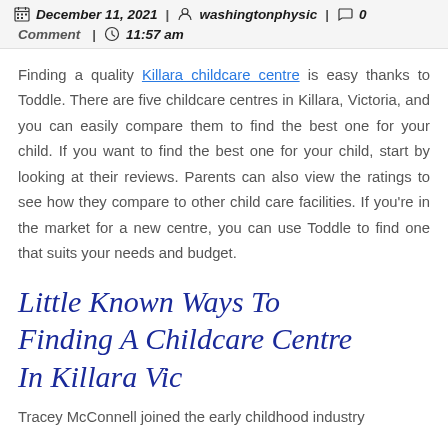December 11, 2021 | washingtonphysic | 0 Comment | 11:57 am
Finding a quality Killara childcare centre is easy thanks to Toddle. There are five childcare centres in Killara, Victoria, and you can easily compare them to find the best one for your child. If you want to find the best one for your child, start by looking at their reviews. Parents can also view the ratings to see how they compare to other child care facilities. If you're in the market for a new centre, you can use Toddle to find one that suits your needs and budget.
Little Known Ways To Finding A Childcare Centre In Killara Vic
Tracey McConnell joined the early childhood industry...